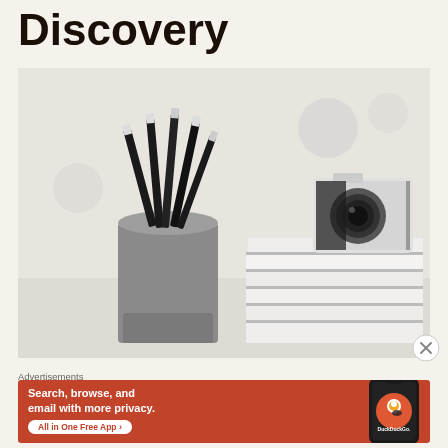Discovery
[Figure (photo): A pencil holder with black and white pencils next to a stack of white magazines/notebooks and a camera in the background, on a white surface.]
Advertisements
[Figure (infographic): DuckDuckGo advertisement banner with orange background. Text reads: Search, browse, and email with more privacy. All in One Free App. Shows a phone with the DuckDuckGo app and logo.]